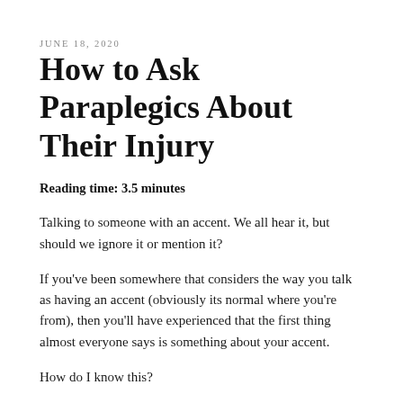JUNE 18, 2020
How to Ask Paraplegics About Their Injury
Reading time: 3.5 minutes
Talking to someone with an accent. We all hear it, but should we ignore it or mention it?
If you've been somewhere that considers the way you talk as having an accent (obviously its normal where you're from), then you'll have experienced that the first thing almost everyone says is something about your accent.
How do I know this?